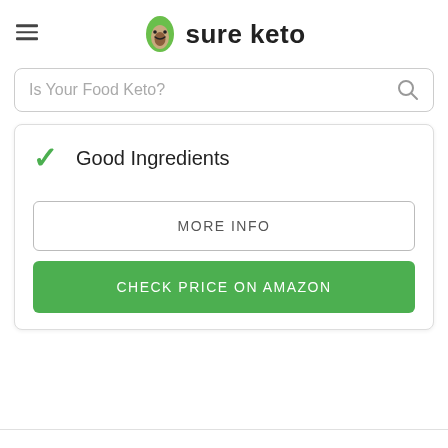sure keto
Is Your Food Keto?
✓ Good Ingredients
MORE INFO
CHECK PRICE ON AMAZON